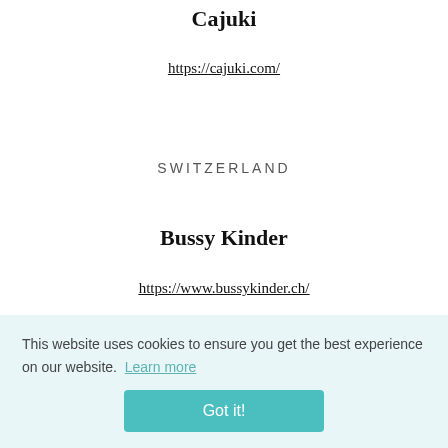Cajuki
https://cajuki.com/
SWITZERLAND
Bussy Kinder
https://www.bussykinder.ch/
Fribourg, SA
This website uses cookies to ensure you get the best experience on our website. Learn more
Got it!
www.mustek.ch/fr